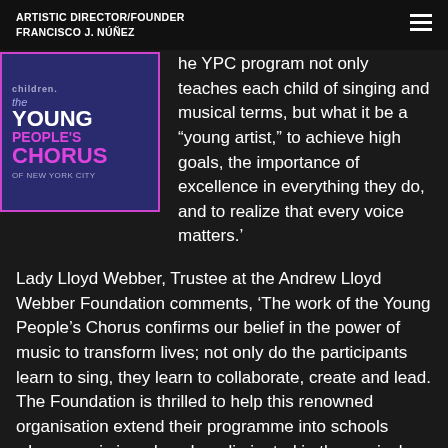ARTISTIC DIRECTOR/FOUNDER
FRANCISCO J. NÚÑEZ
[Figure (logo): Young People's Chorus of New York City logo — dark blue/purple background with pink/magenta border. Text: 'children', 'the', 'YOUNG', 'PEOPLE'S', 'CHORUS', 'OF NEW YORK CITY']
he YPC program not only teaches each child of singing and musical terms, but what it be a “young artist,” to achieve high goals, the importance of excellence in everything they do, and to realize that every voice matters.’
Lady Lloyd Webber, Trustee at the Andrew Lloyd Webber Foundation comments, ‘The work of the Young People’s Chorus confirms our belief in the power of music to transform lives; not only do the participants learn to sing, they learn to collaborate, create and lead. The Foundation is thrilled to help this renowned organisation extend their programme into schools where music is reduced or eliminated in the curriculum and make a difference to every child, no matter what their background.’
For further information, please contact Chloe Davies or